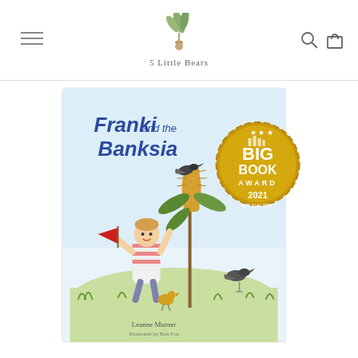[Figure (logo): 5 Little Bears logo with eucalyptus leaves illustration above the text '5 Little Bears']
[Figure (illustration): Book cover of 'Franki and the Banksia' by Leanne Murner, illustrated by Ben Fox. Shows a child with birds around a banksia plant. Includes NYC Big Book Award 2021 gold medallion.]